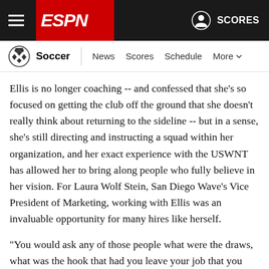ESPN - Soccer | News  Scores  Schedule  More
Ellis is no longer coaching -- and confessed that she's so focused on getting the club off the ground that she doesn't really think about returning to the sideline -- but in a sense, she's still directing and instructing a squad within her organization, and her exact experience with the USWNT has allowed her to bring along people who fully believe in her vision. For Laura Wolf Stein, San Diego Wave's Vice President of Marketing, working with Ellis was an invaluable opportunity for many hires like herself.
"You would ask any of those people what were the draws, what was the hook that had you leave your job that you loved to come over and take this risk, make this jump. For me personally and for so many of us, [it was] being able to be